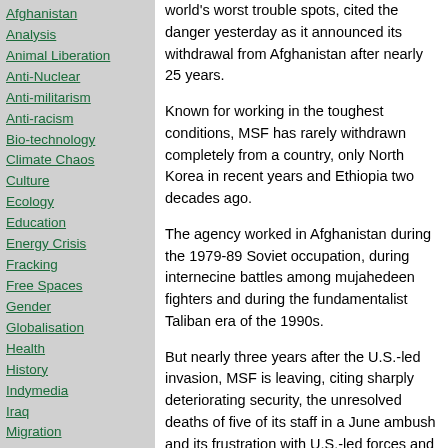Afghanistan
Analysis
Animal Liberation
Anti-Nuclear
Anti-militarism
Anti-racism
Bio-technology
Climate Chaos
Culture
Ecology
Education
Energy Crisis
Fracking
Free Spaces
Gender
Globalisation
Health
History
Indymedia
Iraq
Migration
Ocean Defence
Other Press
Palestine
Policing
Public sector cuts
world's worst trouble spots, cited the danger yesterday as it announced its withdrawal from Afghanistan after nearly 25 years.
Known for working in the toughest conditions, MSF has rarely withdrawn completely from a country, only North Korea in recent years and Ethiopia two decades ago.
The agency worked in Afghanistan during the 1979-89 Soviet occupation, during internecine battles among mujahedeen fighters and during the fundamentalist Taliban era of the 1990s.
But nearly three years after the U.S.-led invasion, MSF is leaving, citing sharply deteriorating security, the unresolved deaths of five of its staff in a June ambush and its frustration with U.S.-led forces and North Atlantic Treaty Organization peacekeepers.
"We feel that the framework for independent humanitarian action in Afghanistan at present has simply evaporated," Kenny Gluck, MSF's director of operations, told reporters.
U.S.-led and NATO forces run reconstruction teams of soldiers who provide health care, dig wells and perform other work usually carried out by civilians.
Last weekend, the Canadian Forces civilian...